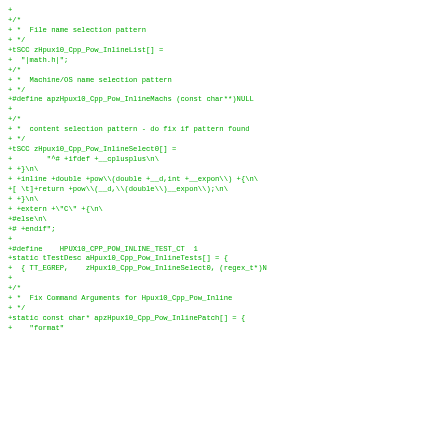+
+/*
+ *  File name selection pattern
+ */
+tSCC zHpux10_Cpp_Pow_InlineList[] =
+  "|math.h|";
+/*
+ *  Machine/OS name selection pattern
+ */
+#define apzHpux10_Cpp_Pow_InlineMachs (const char**)NULL
+
+/*
+ *  content selection pattern - do fix if pattern found
+ */
+tSCC zHpux10_Cpp_Pow_InlineSelect0[] =
+        "^# +ifdef +__cplusplus\n\
+ +}\n\
+ +inline +double +pow\\(double +__d,int +__expon\\) +{\n\
+[ \t]+return +pow\\(__d,\\(double\\)__expon\\);\n\
+ +}\n\
+ +extern +\"C\" +{\n\
+#else\n\
+# +endif";
+
+#define    HPUX10_CPP_POW_INLINE_TEST_CT  1
+static tTestDesc aHpux10_Cpp_Pow_InlineTests[] = {
+  { TT_EGREP,    zHpux10_Cpp_Pow_InlineSelect0, (regex_t*)N
+
+/*
+ *  Fix Command Arguments for Hpux10_Cpp_Pow_Inline
+ */
+static const char* apzHpux10_Cpp_Pow_InlinePatch[] = {
+    "format"